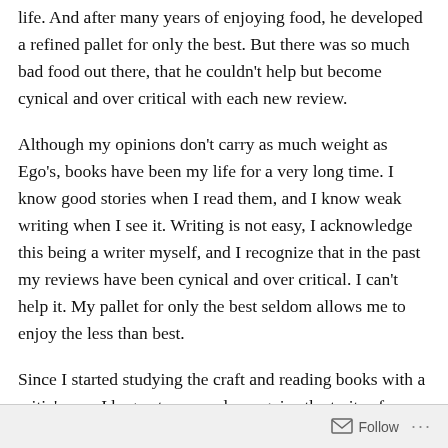life. And after many years of enjoying food, he developed a refined pallet for only the best. But there was so much bad food out there, that he couldn't help but become cynical and over critical with each new review.
Although my opinions don't carry as much weight as Ego's, books have been my life for a very long time. I know good stories when I read them, and I know weak writing when I see it. Writing is not easy, I acknowledge this being a writer myself, and I recognize that in the past my reviews have been cynical and over critical. I can't help it. My pallet for only the best seldom allows me to enjoy the less than best.
Since I started studying the craft and reading books with a critic's eye, I began to see and recognize the traits of a truly great book. A truly great book will keep you up at
Follow